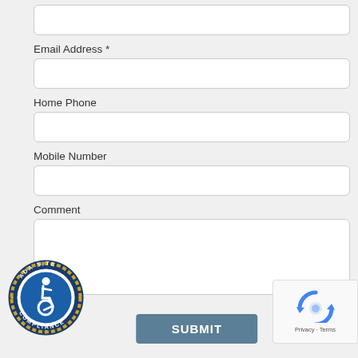Email Address *
Home Phone
Mobile Number
Comment
[Figure (logo): ADA Site Compliance badge — circular seal with wheelchair accessibility icon, gold rope border, blue background, text 'ADA SITE COMPLIANCE']
[Figure (other): Google reCAPTCHA widget showing recycling arrows logo with 'Privacy - Terms' text]